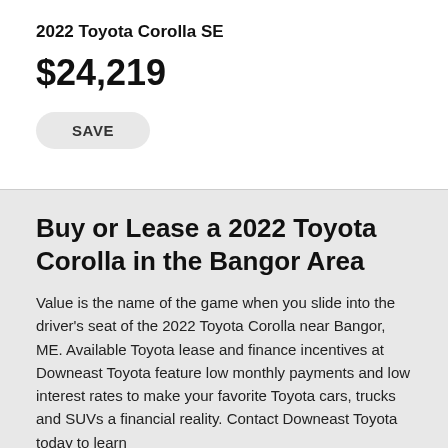2022 Toyota Corolla SE
$24,219
SAVE
Buy or Lease a 2022 Toyota Corolla in the Bangor Area
Value is the name of the game when you slide into the driver's seat of the 2022 Toyota Corolla near Bangor, ME. Available Toyota lease and finance incentives at Downeast Toyota feature low monthly payments and low interest rates to make your favorite Toyota cars, trucks and SUVs a financial reality. Contact Downeast Toyota today to learn